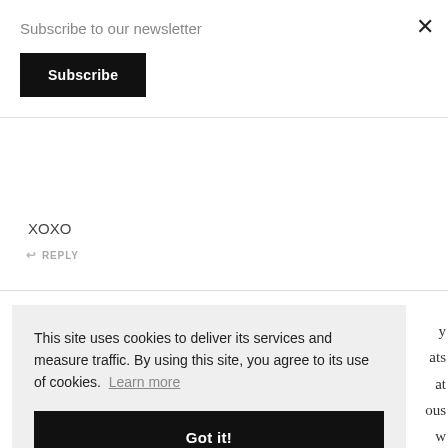Subscribe to our newsletter
Subscribe
×
XOXO
↩ REPLY
This site uses cookies to deliver its services and measure traffic. By using this site, you agree to its use of cookies. Learn more
Got it!
home after we move. Also, that candle, I need it